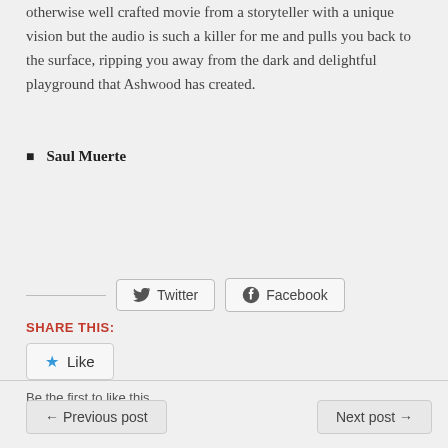otherwise well crafted movie from a storyteller with a unique vision but the audio is such a killer for me and pulls you back to the surface, ripping you away from the dark and delightful playground that Ashwood has created.
Saul Muerte
Share this:
Like
Be the first to like this.
← Previous post
Next post →